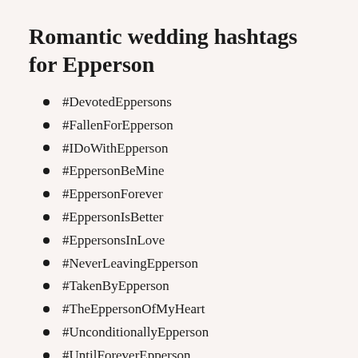Romantic wedding hashtags for Epperson
#DevotedEppersons
#FallenForEpperson
#IDoWithEpperson
#EppersonBeMine
#EppersonForever
#EppersonIsBetter
#EppersonsInLove
#NeverLeavingEpperson
#TakenByEpperson
#TheEppersonOfMyHeart
#UnconditionallyEpperson
#UntilForeverEpperson